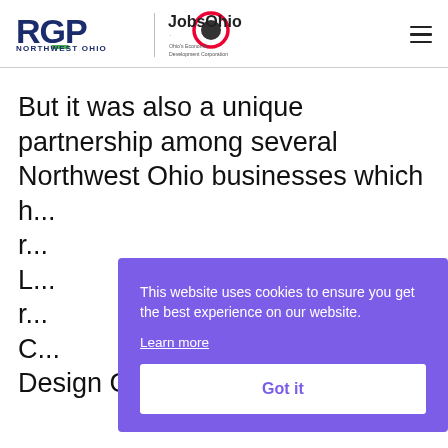RGP NORTHWEST OHIO | JobsOhio Ohio's Economic Development Corporation
But it was also a unique partnership among several Northwest Ohio businesses which h... r... L... r... C... Design Group that has resulted
This website uses cookies to ensure you get the best experience on our website. Learn more Got it